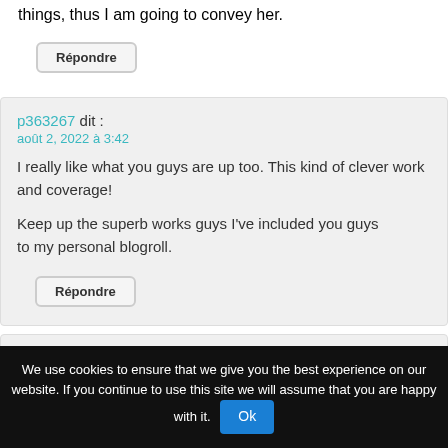things, thus I am going to convey her.
Répondre
p363267 dit :
août 2, 2022 à 3:42
I really like what you guys are up too. This kind of clever work and coverage!
Keep up the superb works guys I've included you guys to my personal blogroll.
Répondre
ประกัน dit :
août 2, 2022 à 4:12
Does your site have a contact page? I'm having a tough time locating it but, I'd
We use cookies to ensure that we give you the best experience on our website. If you continue to use this site we will assume that you are happy with it.
Ok